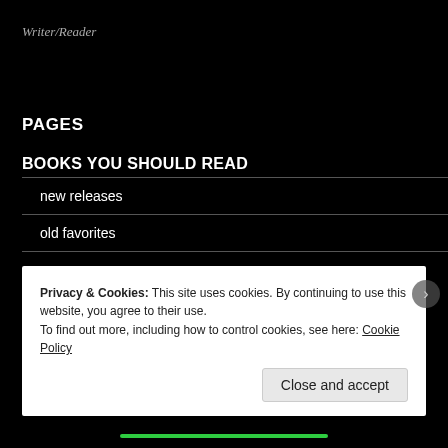Writer/Reader
PAGES
BOOKS YOU SHOULD READ
new releases
old favorites
LIFE, THE UNIVERSE AND EVERYTHING
Privacy & Cookies: This site uses cookies. By continuing to use this website, you agree to their use.
To find out more, including how to control cookies, see here: Cookie Policy
Close and accept